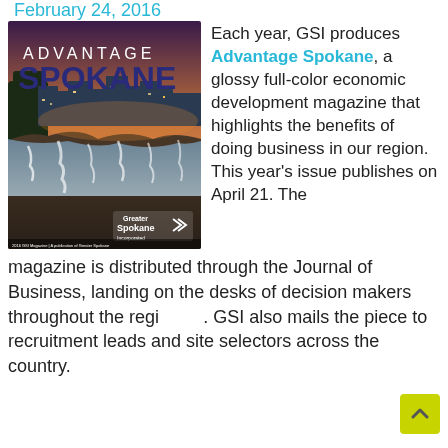February 24, 2016
[Figure (photo): Cover of Advantage Spokane magazine showing a nighttime city panorama with a river waterfall in the foreground and the Greater Spokane Incorporated logo]
Each year, GSI produces Advantage Spokane, a glossy full-color economic development magazine that highlights the benefits of doing business in our region. This year's issue publishes on April 21. The magazine is distributed through the Journal of Business, landing on the desks of decision makers throughout the region. GSI also mails the piece to recruitment leads and site selectors across the country.